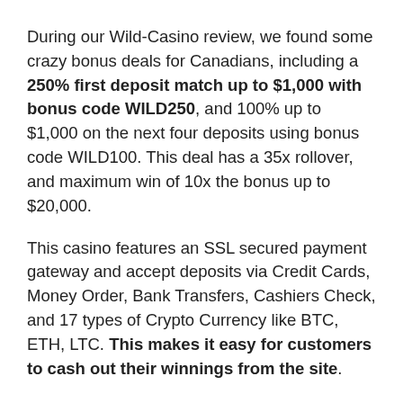During our Wild-Casino review, we found some crazy bonus deals for Canadians, including a 250% first deposit match up to $1,000 with bonus code WILD250, and 100% up to $1,000 on the next four deposits using bonus code WILD100. This deal has a 35x rollover, and maximum win of 10x the bonus up to $20,000.
This casino features an SSL secured payment gateway and accept deposits via Credit Cards, Money Order, Bank Transfers, Cashiers Check, and 17 types of Crypto Currency like BTC, ETH, LTC. This makes it easy for customers to cash out their winnings from the site.
We recommend reviewing Wild Casino for their impressive line up of promotions, including $9,000 crypto bonus, 10% weekly rebate, game of the week prizes, Tuesday top up, Hump Day Special, VIP reloads, and $1,000,000 in monthly tournaments. Sign up today to join in the fun.